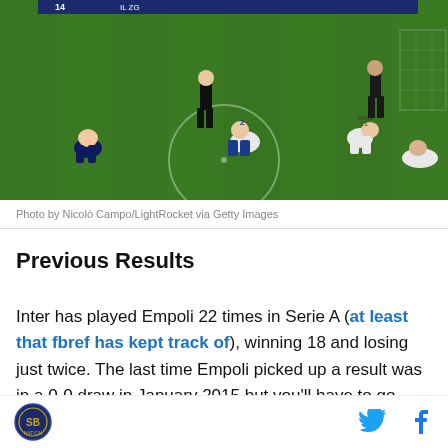[Figure (photo): Soccer/football players on a green pitch, some sitting or lying on the ground after a match. Players in dark blue/black Inter kit and white kit visible. Stadium advertising boards in background.]
Photo by Nicolò Campo/LightRocket via Getty Images
Previous Results
Inter has played Empoli 22 times in Serie A (at least that fbref has kept track of), winning 18 and losing just twice. The last time Empoli picked up a result was in a 0-0 draw in January 2015 but you'll have to go back all the way to 2006 for the most recent Empoli win
SB Nation logo, Twitter and Facebook icons